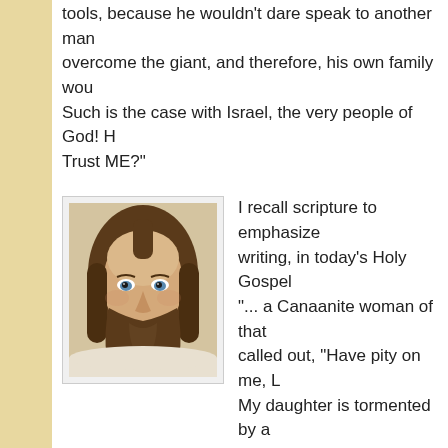tools, because he wouldn't dare speak to another man overcome the giant, and therefore, his own family wou Such is the case with Israel, the very people of God! H Trust ME?"
[Figure (photo): Portrait illustration of Jesus Christ with long brown hair and beard, wearing white robes]
I recall scripture to emphasize writing, in today's Holy Gospel "... a Canaanite woman of that called out, "Have pity on me, L My daughter is tormented by a But he did not say a word in a His disciples came and asked "Send her away, for she keeps us."
So our Lord was not responsive to her pleas. Now wha hear, watch for the answer: